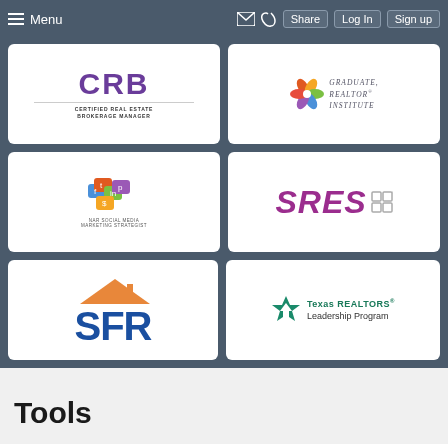Menu | Share | Log In | Sign up
[Figure (logo): CRB - Certified Real Estate Brokerage Manager logo]
[Figure (logo): Graduate Realtor Institute logo]
[Figure (logo): NAR Social Media Marketing Strategist logo]
[Figure (logo): SRES logo with stacked squares icon]
[Figure (logo): SFR logo with house icon]
[Figure (logo): Texas REALTORS Leadership Program logo]
Tools